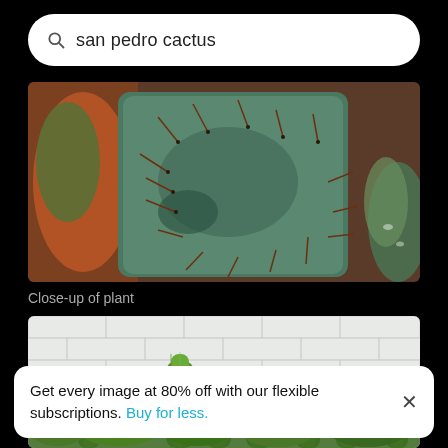san pedro cactus
[Figure (photo): Close-up photo of a cactus with large blue-green pads and long brown spines, against a blurred dark brown background.]
Close-up of plant
[Figure (photo): Multiple tall columnar green cacti arranged in a row against a white brick wall.]
Get every image at 80% off with our flexible subscriptions. Buy for less.